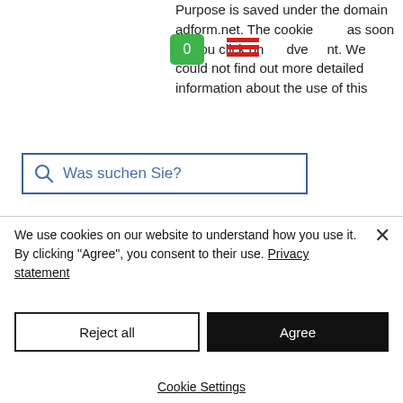Purpose is saved under the domain adform.net. The cookie … as soon as you click on adve… ent. We could not find out more detailed information about the use of this
[Figure (screenshot): Search bar overlay with magnifying glass icon and text 'Was suchen Sie?' in blue, with a shopping cart icon and hamburger menu icon visible]
Note: This list cannot claim to be complete, as experience has shown that Google changes the choice of cookies again and again.
How long and where is the data stored?
Google records your IP address and
We use cookies on our website to understand how you use it. By clicking "Agree", you consent to their use. Privacy statement
Reject all
Agree
Cookie Settings